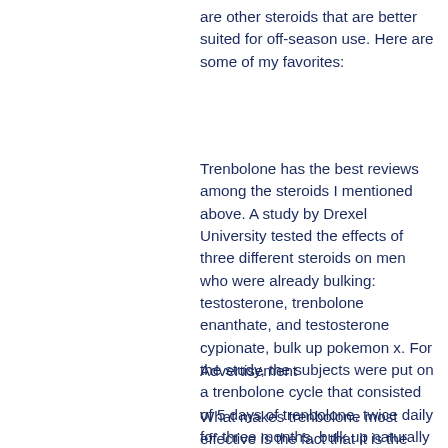are other steroids that are better suited for off-season use. Here are some of my favorites:
Trenbolone has the best reviews among the steroids I mentioned above. A study by Drexel University tested the effects of three different steroids on men who were already bulking: testosterone, trenbolone enanthate, and testosterone cypionate, bulk up pokemon x. For the study, the subjects were put on a trenbolone cycle that consisted of 5 days of trenbolone, twice daily for three months, bulk up naturally fast.
Advertisement
What makes trenbolone most effective is the fact that it is the most easily absorbed, which